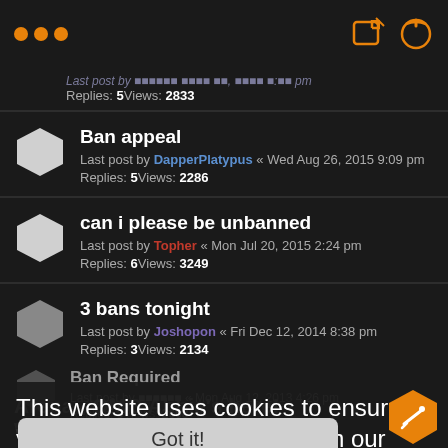... [header icons]
Last post by ... Nov 05, 2016 4:07 pm
Replies: 5Views: 2833
Ban appeal
Last post by DapperPlatypus « Wed Aug 26, 2015 9:09 pm
Replies: 5Views: 2286
can i please be unbanned
Last post by Topher « Mon Jul 20, 2015 2:24 pm
Replies: 6Views: 3249
3 bans tonight
Last post by Joshopon « Fri Dec 12, 2014 8:38 pm
Replies: 3Views: 2134
This website uses cookies to ensure you get the best experience on our website. Learn more
Got it!
Ban Required
Last post by ... « Mon Aug 12, 2013 4:26 pm
Replies: 3Views: 2608
Arena - OMG Abbie's here! - Wallhacker [demo